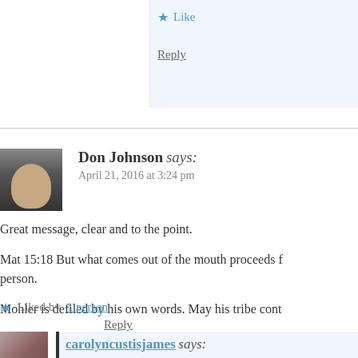Like
Reply
Don Johnson says:
April 21, 2016 at 3:24 pm
Great message, clear and to the point.
Mat 15:18 But what comes out of the mouth proceeds f... person.
Mohler is defiled by his own words. May his tribe cont...
Liked by 1 person
Reply
carolyncustisjames says: